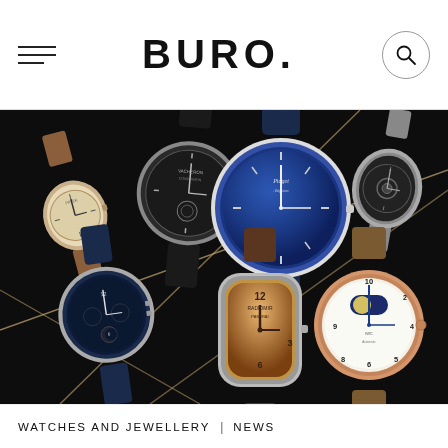BURO.
[Figure (photo): Collection of luxury watches arranged on black background with gold diagonal lines. Watches include Vacheron Constantin, Piaget, Panerai Radiomir, and other luxury timepieces with various strap styles in brown, blue, and grey leather.]
WATCHES AND JEWELLERY | NEWS